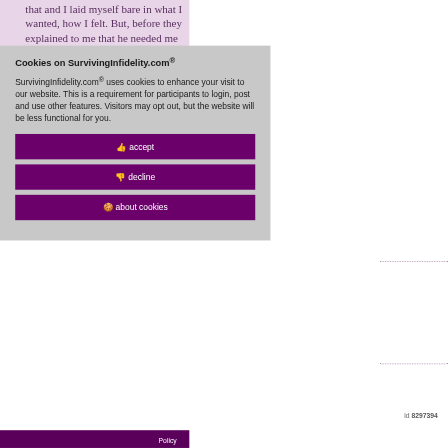that and I laid myself bare in what I wanted, how I felt. But, before they explained to me that he needed me to do that, I was operating under the assumption that his healing wasn't up to me. I was afraid to bring it up and ask him directly. At the time, I thought the discussions would have been something probably never
Cookies on SurvivingInfidelity.com®
SurvivingInfidelity.com® uses cookies to enhance your visit to our website. This is a requirement for participants to login, post and use other features. Visitors may opt out, but the website will be less functional for you.
accept
decline
about cookies
id 8297394
Policy